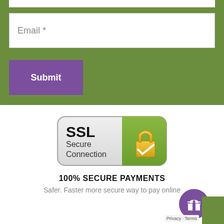Email *
Submit
[Figure (logo): SSL Secure Connection badge with padlock icon and green background on right side]
100% SECURE PAYMENTS
Safer. Faster more secure way to pay online
Privacy · Terms